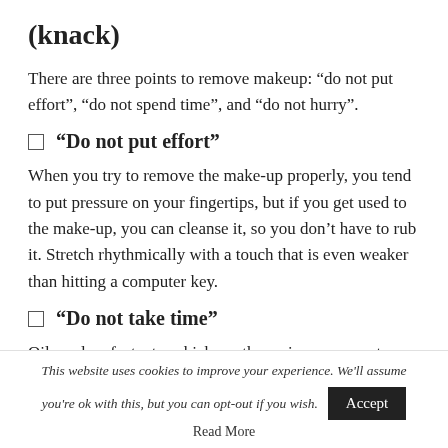(knack)
There are three points to remove makeup: “do not put effort”, “do not spend time”, and “do not hurry”.
“Do not put effort”
When you try to remove the make-up properly, you tend to put pressure on your fingertips, but if you get used to the make-up, you can cleanse it, so you don’t have to rub it. Stretch rhythmically with a touch that is even weaker than hitting a computer key.
“Do not take time”
Oils and surfactants. which are the main components
This website uses cookies to improve your experience. We'll assume you're ok with this, but you can opt-out if you wish.
Read More